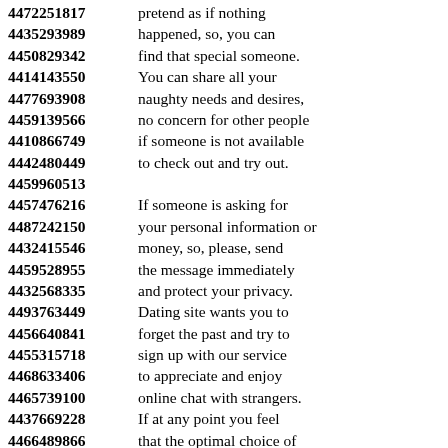4472251817 pretend as if nothing 4435293989 happened, so, you can 4450829342 find that special someone. 4414143550 You can share all your 4477693908 naughty needs and desires, 4459139566 no concern for other people 4410866749 if someone is not available 4442480449 to check out and try out. 4459960513 4457476216 If someone is asking for 4487242150 your personal information or 4432415546 money, so, please, send 4459528955 the message immediately 4432568335 and protect your privacy. 4493763449 Dating site wants you to 4456640841 forget the past and try to 4455315718 sign up with our service 4468633406 to appreciate and enjoy 4465739100 online chat with strangers. 4437669228 If at any point you feel 4466489866 that the optimal choice of 4484604517 woman seeking a single man 4459678361 is less interesting to you, 4411620470 you can choose to hold them, 4454834792 act as if everything is good.